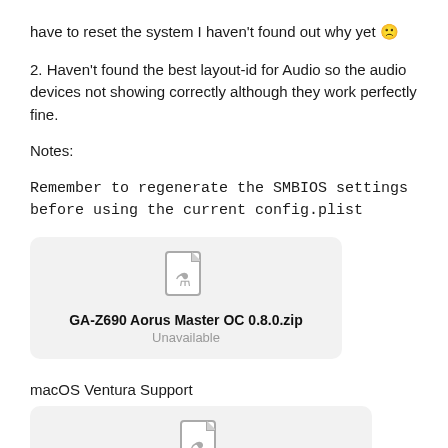have to reset the system I haven't found out why yet 🙁
2. Haven't found the best layout-id for Audio so the audio devices not showing correctly although they work perfectly fine.
Notes:
Remember to regenerate the SMBIOS settings before using the current config.plist
[Figure (other): File attachment card with zip file icon showing 'GA-Z690 Aorus Master OC 0.8.0.zip' labeled as Unavailable]
macOS Ventura Support
[Figure (other): File attachment card with zip file icon showing 'AlderLake OC 0.8.2 GA-Z690 Aorus M...' labeled as Unavailable]